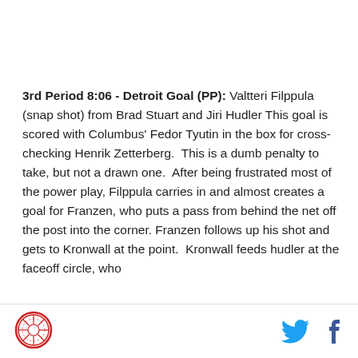3rd Period 8:06 - Detroit Goal (PP): Valtteri Filppula (snap shot) from Brad Stuart and Jiri Hudler This goal is scored with Columbus' Fedor Tyutin in the box for cross-checking Henrik Zetterberg.  This is a dumb penalty to take, but not a drawn one.  After being frustrated most of the power play, Filppula carries in and almost creates a goal for Franzen, who puts a pass from behind the net off the post into the corner.  Franzen follows up his shot and gets to Kronwall at the point.  Kronwall feeds hudler at the faceoff circle, who
[Figure (logo): Circular red logo/emblem in the bottom left footer]
[Figure (illustration): Twitter bird icon and Facebook f icon in the bottom right footer]